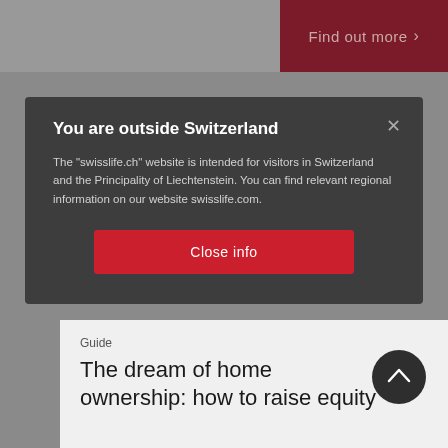Find out more >
You are outside Switzerland
The "swisslife.ch" website is intended for visitors in Switzerland and the Principality of Liechtenstein. You can find relevant regional information on our website swisslife.com.
Close info
Guide
The dream of home ownership: how to raise equity